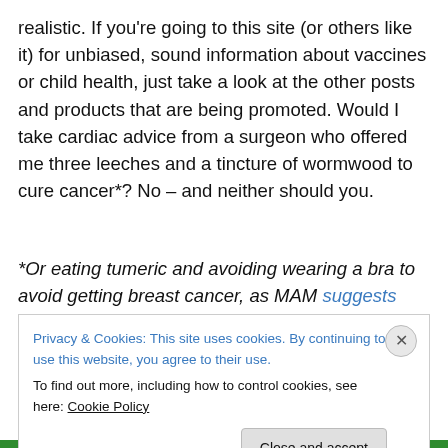realistic. If you're going to this site (or others like it) for unbiased, sound information about vaccines or child health, just take a look at the other posts and products that are being promoted. Would I take cardiac advice from a surgeon who offered me three leeches and a tincture of wormwood to cure cancer*? No – and neither should you.
*Or eating tumeric and avoiding wearing a bra to avoid getting breast cancer, as MAM suggests
Share this:
Privacy & Cookies: This site uses cookies. By continuing to use this website, you agree to their use.
To find out more, including how to control cookies, see here: Cookie Policy